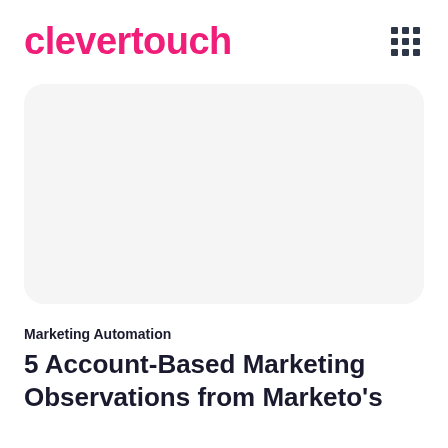clevertouch
[Figure (other): Blank rounded rectangle image placeholder area with light gray background]
Marketing Automation
5 Account-Based Marketing Observations from Marketo's